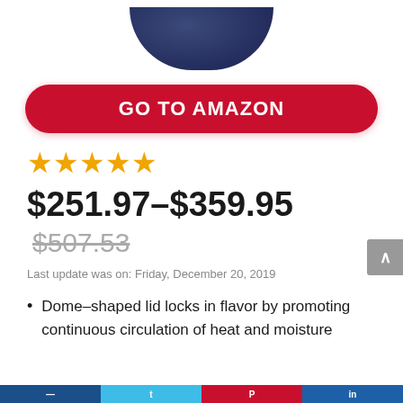[Figure (photo): Partial view of a dark navy blue dome-shaped lid/bowl product photographed from above against white background]
GO TO AMAZON
[Figure (other): 4 out of 5 orange star rating icons]
$251.97–$359.95 $507.53
Last update was on: Friday, December 20, 2019
Dome–shaped lid locks in flavor by promoting continuous circulation of heat and moisture